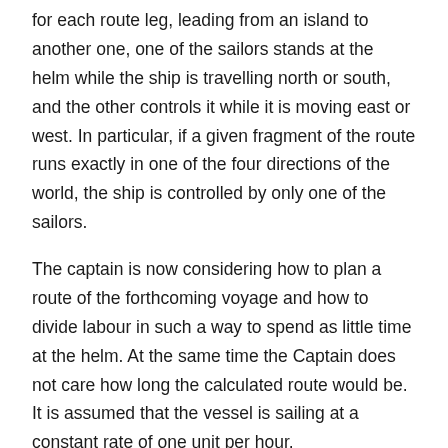for each route leg, leading from an island to another one, one of the sailors stands at the helm while the ship is travelling north or south, and the other controls it while it is moving east or west. In particular, if a given fragment of the route runs exactly in one of the four directions of the world, the ship is controlled by only one of the sailors.
The captain is now considering how to plan a route of the forthcoming voyage and how to divide labour in such a way to spend as little time at the helm. At the same time the Captain does not care how long the calculated route would be. It is assumed that the vessel is sailing at a constant rate of one unit per hour.
입력